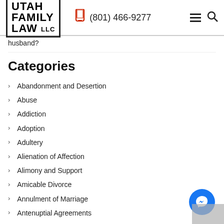UTAH FAMILY LAW LLC | (801) 466-9277
husband?
Categories
Abandonment and Desertion
Abuse
Addiction
Adoption
Adultery
Alienation of Affection
Alimony and Support
Amicable Divorce
Annulment of Marriage
Antenuptial Agreements
Appeal
Arbitration